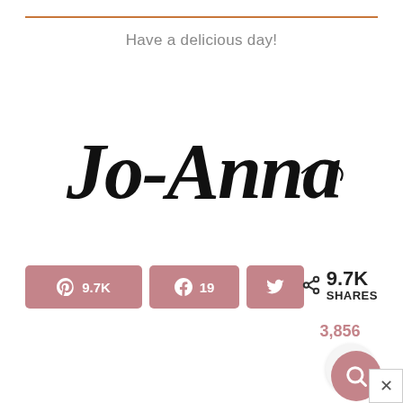Have a delicious day!
[Figure (illustration): Handwritten cursive signature reading 'Jo-Anna' with a decorative swash]
9.7K  19  (social share buttons for Pinterest, Facebook, Twitter)
9.7K SHARES
3,856